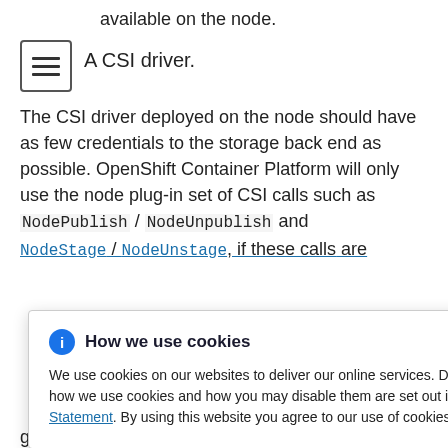available on the node.
A CSI driver.
The CSI driver deployed on the node should have as few credentials to the storage back end as possible. OpenShift Container Platform will only use the node plug-in set of CSI calls such as NodePublish / NodeUnpublish and NodeStage / NodeUnstage, if these calls are
How we use cookies
We use cookies on our websites to deliver our online services. Details about how we use cookies and how you may disable them are set out in our Privacy Statement. By using this website you agree to our use of cookies.
tform
tain
by default,
giving users storage options that are not possible with